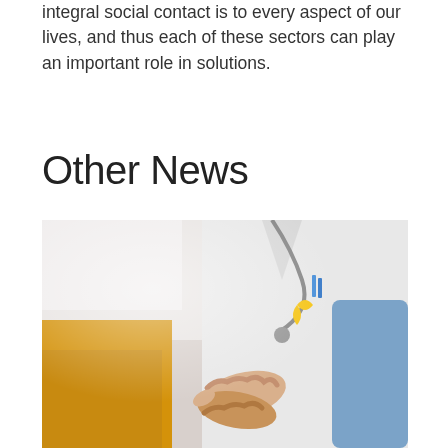integral social contact is to every aspect of our lives, and thus each of these sectors can play an important role in solutions.
Other News
[Figure (photo): A doctor in a white coat with a stethoscope and yellow ribbon pin holds the hands of a patient wearing a yellow top, suggesting compassionate medical care.]